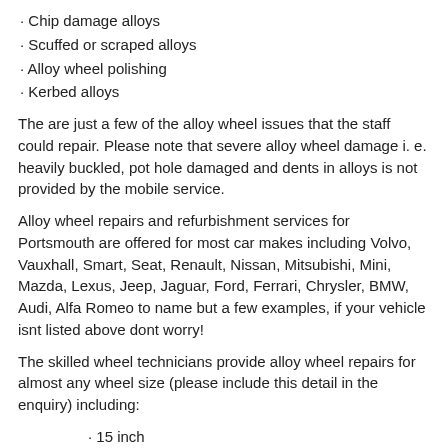· Chip damage alloys
· Scuffed or scraped alloys
· Alloy wheel polishing
· Kerbed alloys
The are just a few of the alloy wheel issues that the staff could repair. Please note that severe alloy wheel damage i. e. heavily buckled, pot hole damaged and dents in alloys is not provided by the mobile service.
Alloy wheel repairs and refurbishment services for Portsmouth are offered for most car makes including Volvo, Vauxhall, Smart, Seat, Renault, Nissan, Mitsubishi, Mini, Mazda, Lexus, Jeep, Jaguar, Ford, Ferrari, Chrysler, BMW, Audi, Alfa Romeo to name but a few examples, if your vehicle isnt listed above dont worry!
The skilled wheel technicians provide alloy wheel repairs for almost any wheel size (please include this detail in the enquiry) including:
· 15 inch
· 16 inch
· 17 inch